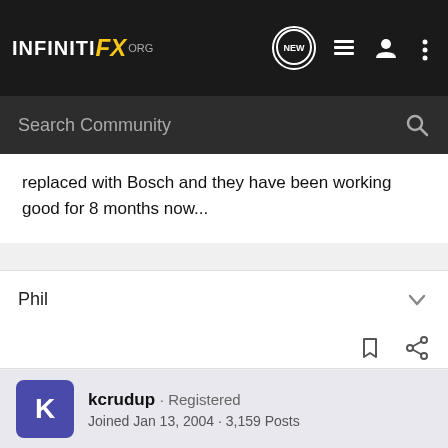INFINITI FX .org — NEW — navigation icons
replaced with Bosch and they have been working good for 8 months now...
Phil
kcrudup · Registered
Joined Jan 13, 2004 · 3,159 Posts
#3 · Feb 21, 2005
qtpaul said: